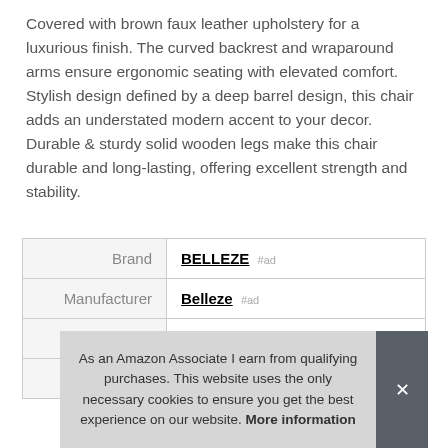Covered with brown faux leather upholstery for a luxurious finish. The curved backrest and wraparound arms ensure ergonomic seating with elevated comfort. Stylish design defined by a deep barrel design, this chair adds an understated modern accent to your decor. Durable & sturdy solid wooden legs make this chair durable and long-lasting, offering excellent strength and stability.
|  |  |
| --- | --- |
| Brand | BELLEZE #ad |
| Manufacturer | Belleze #ad |
| Height | 29 Inches |
| P... | ... |
As an Amazon Associate I earn from qualifying purchases. This website uses the only necessary cookies to ensure you get the best experience on our website. More information